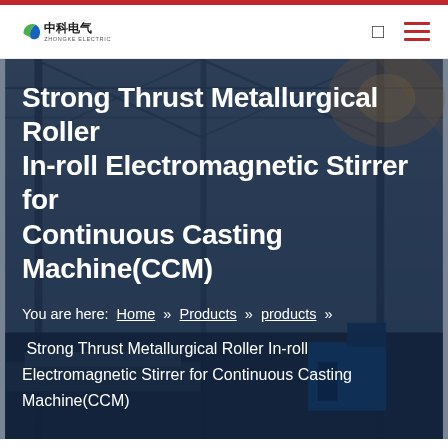中科电气 ZHONGKE ELECTRIC — navigation header
[Figure (photo): Industrial metallurgical factory interior with steel framework, cranes, and heavy machinery, used as hero background image]
Strong Thrust Metallurgical Roller In-roll Electromagnetic Stirrer for Continuous Casting Machine(CCM)
You are here: Home » Products » products » Strong Thrust Metallurgical Roller In-roll Electromagnetic Stirrer for Continuous Casting Machine(CCM)